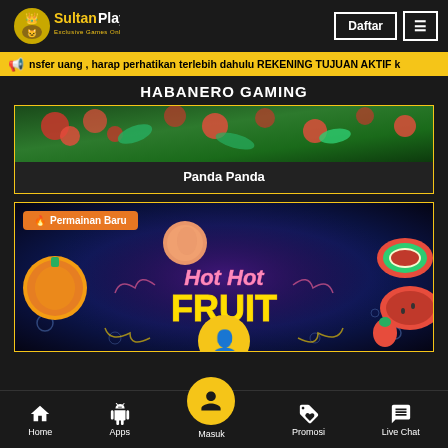[Figure (logo): SultanPlay logo with crown emblem and text 'Exclusive Games Online']
Daftar
≡
nsfer uang , harap perhatikan terlebih dahulu REKENING TUJUAN AKTIF k
HABANERO GAMING
[Figure (screenshot): Panda Panda game card thumbnail with green jungle background and fruits]
Panda Panda
[Figure (screenshot): Hot Hot Fruit game card with Permainan Baru badge, colorful fruits on dark blue background with neon Hot Hot Fruit logo]
Permainan Baru
Home | Apps | Masuk | Promosi | Live Chat